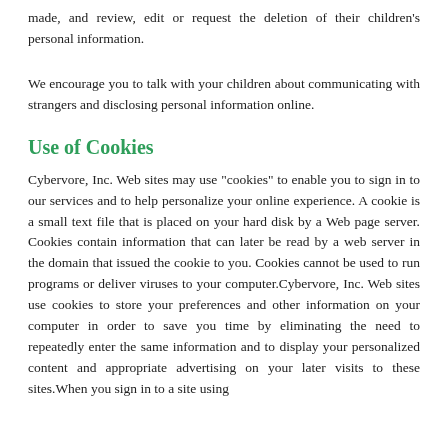made, and review, edit or request the deletion of their children's personal information.
We encourage you to talk with your children about communicating with strangers and disclosing personal information online.
Use of Cookies
Cybervore, Inc. Web sites may use "cookies" to enable you to sign in to our services and to help personalize your online experience. A cookie is a small text file that is placed on your hard disk by a Web page server. Cookies contain information that can later be read by a web server in the domain that issued the cookie to you. Cookies cannot be used to run programs or deliver viruses to your computer.Cybervore, Inc. Web sites use cookies to store your preferences and other information on your computer in order to save you time by eliminating the need to repeatedly enter the same information and to display your personalized content and appropriate advertising on your later visits to these sites.When you sign in to a site using